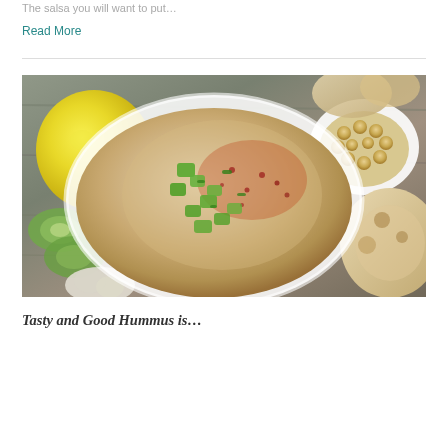The salsa you will want to put…
Read More
[Figure (photo): Overhead photo of a bowl of hummus garnished with diced cucumber pieces, chopped green herbs, and red pepper flakes with a drizzle of oil, surrounded by sliced cucumbers, a lemon, garlic, chickpeas in a white bowl, and pita bread on a wooden surface.]
Tasty and Good Hummus is…